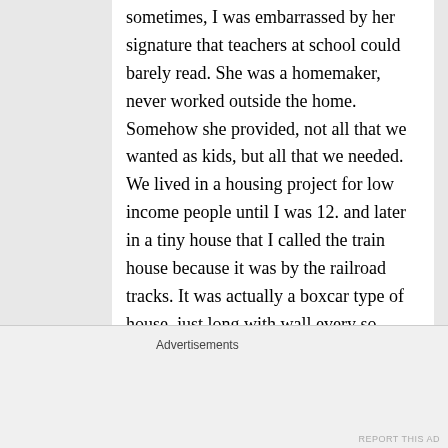sometimes, I was embarrassed by her signature that teachers at school could barely read. She was a homemaker, never worked outside the home. Somehow she provided, not all that we wanted as kids, but all that we needed. We lived in a housing project for low income people until I was 12. and later in a tiny house that I called the train house because it was by the railroad tracks. It was actually a boxcar type of house, just long with wall every so many feet to divide the rooms. She
Advertisements